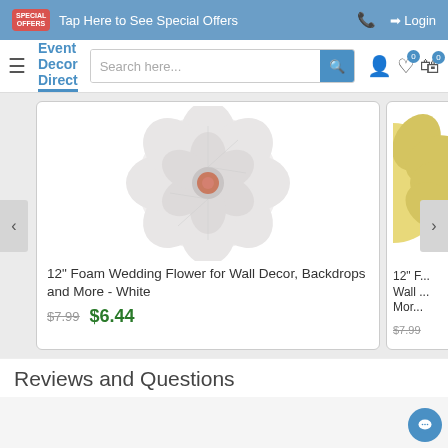Tap Here to See Special Offers | Login
[Figure (screenshot): Event Decor Direct website navigation bar with logo, search box, and icons]
[Figure (photo): White foam flower for wall decor, backdrops - product image]
12" Foam Wedding Flower for Wall Decor, Backdrops and More - White
$7.99  $6.44
[Figure (photo): Partial view of second product - 12" foam flower in yellow/gold color]
12" F... Wall ... Mor...
$7.99
Reviews and Questions